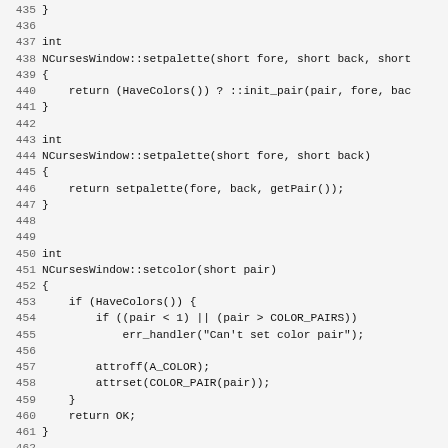Source code listing lines 435-467, NCursesWindow class methods: setpalette and setcolor
[Figure (screenshot): C++ source code with line numbers showing NCursesWindow::setpalette and NCursesWindow::setcolor method implementations]